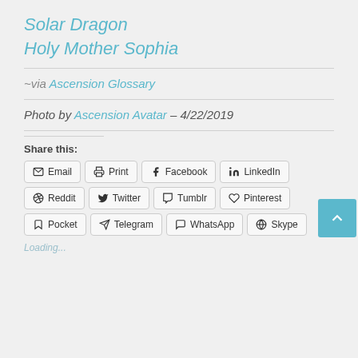Solar Dragon
Holy Mother Sophia
~via Ascension Glossary
Photo by Ascension Avatar – 4/22/2019
Share this:
Email  Print  Facebook  LinkedIn  Reddit  Twitter  Tumblr  Pinterest  Pocket  Telegram  WhatsApp  Skype
Loading...